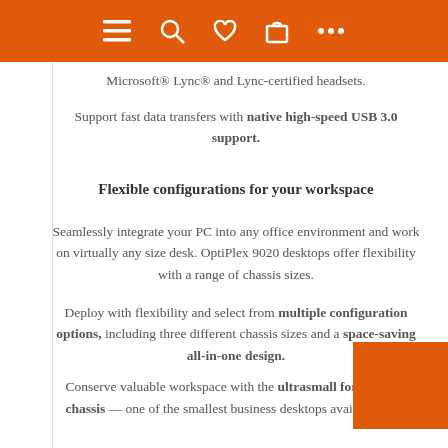navigation bar with menu, search, heart, cart, and more icons
Microsoft® Lync® and Lync-certified headsets.
Support fast data transfers with native high-speed USB 3.0 support.
Flexible configurations for your workspace
Seamlessly integrate your PC into any office environment and work on virtually any size desk. OptiPlex 9020 desktops offer flexibility with a range of chassis sizes.
Deploy with flexibility and select from multiple configuration options, including three different chassis sizes and a space-saving all-in-one design.
Conserve valuable workspace with the ultrasmall form factor chassis — one of the smallest business desktops available with